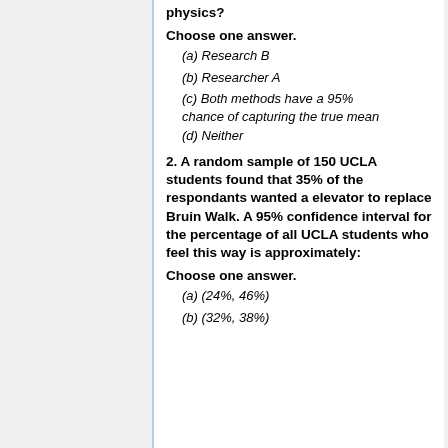physics?
Choose one answer.
(a) Research B
(b) Researcher A
(c) Both methods have a 95% chance of capturing the true mean
(d) Neither
2. A random sample of 150 UCLA students found that 35% of the respondants wanted a elevator to replace Bruin Walk. A 95% confidence interval for the percentage of all UCLA students who feel this way is approximately:
Choose one answer.
(a) (24%, 46%)
(b) (32%, 38%)